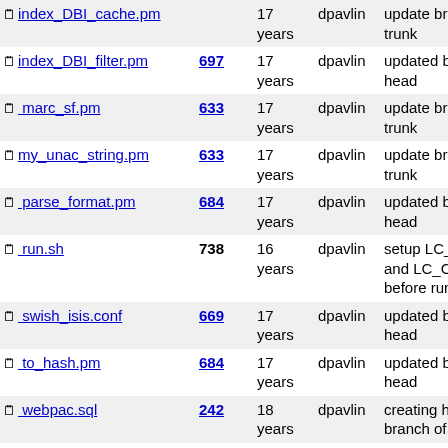| Name | Rev | Age | Author | Message |
| --- | --- | --- | --- | --- |
| index_DBI_cache.pm |  | 17 years | dpavlin | update branches to trunk |
| index_DBI_filter.pm | 697 | 17 years | dpavlin | updated branches to head |
| _marc_sf.pm | 633 | 17 years | dpavlin | update branches to trunk |
| my_unac_string.pm | 633 | 17 years | dpavlin | update branches to trunk |
| _parse_format.pm | 684 | 17 years | dpavlin | updated branches to head |
| _run.sh | 738 | 16 years | dpavlin | setup LC_COLLATE and LC_CTYPE before running script |
| _swish_isis.conf | 669 | 17 years | dpavlin | updated branches to head |
| _to_hash.pm | 684 | 17 years | dpavlin | updated branches to head |
| _webpac.sql | 242 | 18 years | dpavlin | creating hidra branch of code |
| _xmlify.pm | 242 | 18 years | dpavlin | creating hidra branch of code |